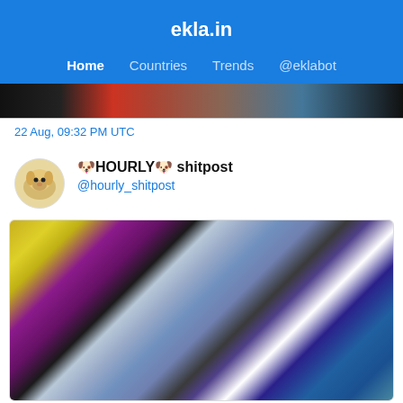ekla.in
Home  Countries  Trends  @eklabot
[Figure (photo): Partial photo showing figures in red and orange clothing against a dark background, cropped at the top]
22 Aug, 09:32 PM UTC
🐶HOURLY🐶 shitpost @hourly_shitpost
[Figure (photo): Blurry photo showing colorful graffiti with yellow, purple and pink colors alongside a person in a gray/blue shirt and dark pants, with a teal and dark purple graphic on the right side]